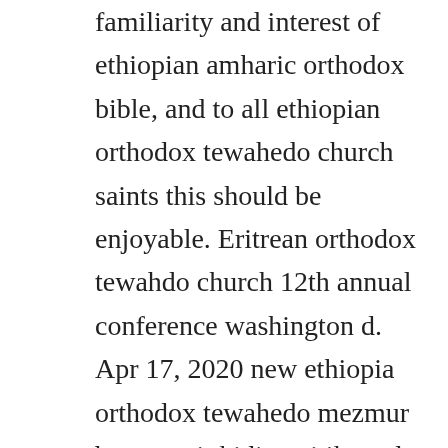familiarity and interest of ethiopian amharic orthodox bible, and to all ethiopian orthodox tewahedo church saints this should be enjoyable. Eritrean orthodox tewahdo church 12th annual conference washington d. Apr 17, 2020 new ethiopia orthodox tewahedo mezmur by,zemarit kidist mitikuende nech inqu yemiyabera by biruk tube. Until 1959, the orthodox tewahedo churches were administratively part of the coptic orthodox church of alexandria. The eritrean orthodox church archdiocese of north america has conducted a peaceful demonstration on